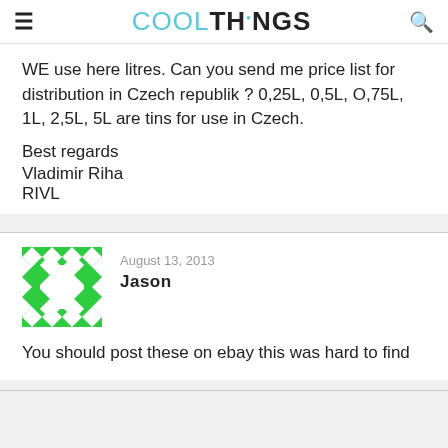COOLTHINGS
WE use here litres. Can you send me price list for distribution in Czech republik ? 0,25L, 0,5L, O,75L, 1L, 2,5L, 5L are tins for use in Czech.
Best regards
Vladimir Riha
RIVL
August 13, 2013
Jason
[Figure (illustration): Green and white geometric pattern avatar for user Jason]
You should post these on ebay this was hard to find